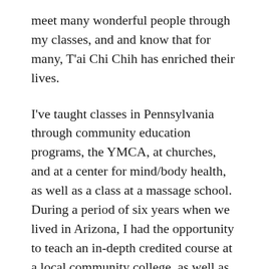meet many wonderful people through my classes, and and know that for many, T'ai Chi Chih has enriched their lives.
I've taught classes in Pennsylvania through community education programs, the YMCA, at churches, and at a center for mind/body health, as well as a class at a massage school. During a period of six years when we lived in Arizona, I had the opportunity to teach an in-depth credited course at a local community college, as well as community ed classes also through that college. During the years I lived in Arizona, I also had the privilege of hosting several retreats led by Pam Towne, and meeting many serious students, some of whom went on to become accredited teachers themselves.
Teaching classes in a structured eight week 1-1/2 hour long class is my preferred method. In this way, students properly learn the important fundamentals of movement